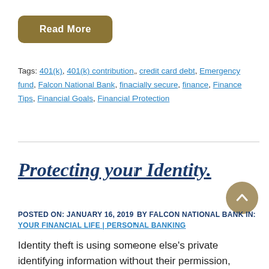Read More
Tags: 401(k), 401(k) contribution, credit card debt, Emergency fund, Falcon National Bank, finacially secure, finance, Finance Tips, Financial Goals, Financial Protection
Protecting your Identity.
POSTED ON: JANUARY 16, 2019 BY FALCON NATIONAL BANK IN: YOUR FINANCIAL LIFE | PERSONAL BANKING
Identity theft is using someone else’s private identifying information without their permission, usually for their financial gain. In this day and age, it's